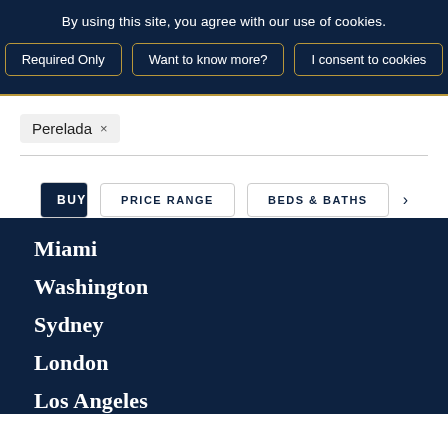By using this site, you agree with our use of cookies.
Required Only
Want to know more?
I consent to cookies
Perelada ×
BUY
RENT
PRICE RANGE
BEDS & BATHS
Miami
Washington
Sydney
London
Los Angeles